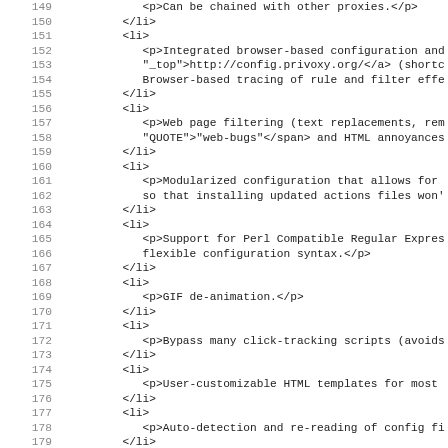Code listing lines 149-181 showing XML/HTML list items with descriptions of software features
149: <p>Can be chained with other proxies.</p>
150: </li>
151: <li>
152: <p>Integrated browser-based configuration and
153: "_top">http://config.privoxy.org/</a> (shortc
154: Browser-based tracing of rule and filter effe
155: </li>
156: <li>
157: <p>Web page filtering (text replacements, rem
158: "QUOTE">"web-bugs"</span> and HTML annoyances
159: </li>
160: <li>
161: <p>Modularized configuration that allows for
162: so that installing updated actions files won'
163: </li>
164: <li>
165: <p>Support for Perl Compatible Regular Expres
166: flexible configuration syntax.</p>
167: </li>
168: <li>
169: <p>GIF de-animation.</p>
170: </li>
171: <li>
172: <p>Bypass many click-tracking scripts (avoids
173: </li>
174: <li>
175: <p>User-customizable HTML templates for most
176: </li>
177: <li>
178: <p>Auto-detection and re-reading of config fi
179: </li>
180: <li>
181: ...